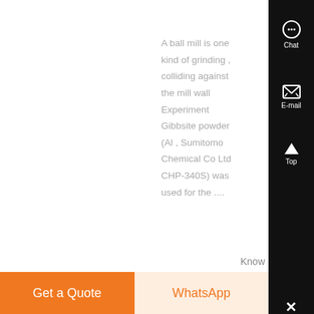A ball mill is one kind of grinding , colliding against the mill wall Experiment Gibbsite powder (Al , Sumitomo Chemical Co Ltd CHP-340S) was used for the ....
Know More
Get a Quote
WhatsApp